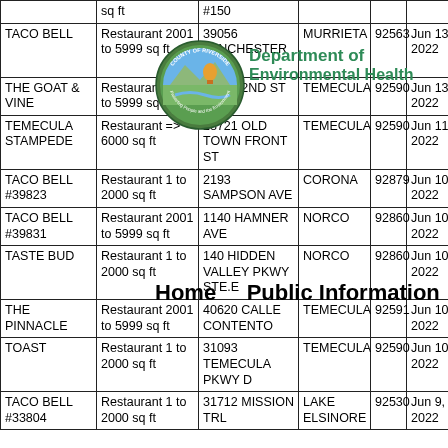| Name | Type | Address | City | Zip | Date |
| --- | --- | --- | --- | --- | --- |
|  | sq ft | #150 |  |  |  |
| TACO BELL | Restaurant 2001 to 5999 sq ft | 39056 WINCHESTER RD | MURRIETA | 92563 | Jun 13, 2022 |
| THE GOAT & VINE | Restaurant 2001 to 5999 sq ft | 41923 2ND ST #102 | TEMECULA | 92590 | Jun 13, 2022 |
| TEMECULA STAMPEDE | Restaurant => 6000 sq ft | 28721 OLD TOWN FRONT ST | TEMECULA | 92590 | Jun 11, 2022 |
| TACO BELL #39823 | Restaurant 1 to 2000 sq ft | 2193 SAMPSON AVE | CORONA | 92879 | Jun 10, 2022 |
| TACO BELL #39831 | Restaurant 2001 to 5999 sq ft | 1140 HAMNER AVE | NORCO | 92860 | Jun 10, 2022 |
| TASTE BUD | Restaurant 1 to 2000 sq ft | 140 HIDDEN VALLEY PKWY STE.E | NORCO | 92860 | Jun 10, 2022 |
| THE PINNACLE | Restaurant 2001 to 5999 sq ft | 40620 CALLE CONTENTO | TEMECULA | 92591 | Jun 10, 2022 |
| TOAST | Restaurant 1 to 2000 sq ft | 31093 TEMECULA PKWY D | TEMECULA | 92590 | Jun 10, 2022 |
| TACO BELL #33804 | Restaurant 1 to 2000 sq ft | 31712 MISSION TRL | LAKE ELSINORE | 92530 | Jun 9, 2022 |
[Figure (logo): Riverside County Department of Environmental Health seal/logo — circular green badge with landscape scene and text 'COUNTY OF RIVERSIDE', 'Protecting People and the Environment']
Department of Environmental Health
Home   Public Information